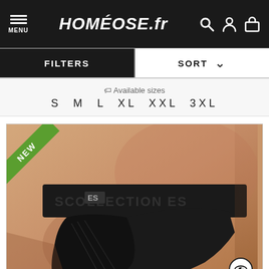HOMÉOSE.fr
FILTERS   SORT
Available sizes
S  M  L  XL  XXL  3XL
[Figure (photo): Product photo of black men's underwear/jockstrap with ES Collection branded waistband, labeled NEW with a green corner badge. Model's torso visible.]